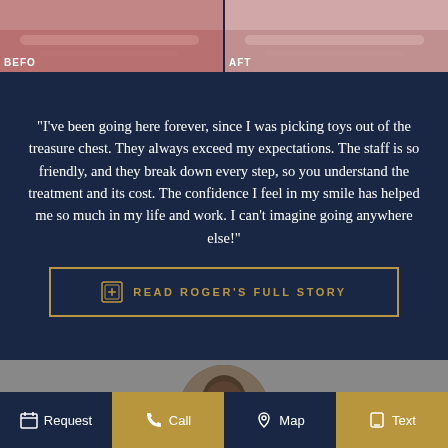[Figure (photo): Before and after dental/lip treatment photos side by side. Left panel labeled BEFO (Before), right panel labeled AFT (After).]
“I’ve been going here forever, since I was picking toys out of the treasure chest. They always exceed my expectations. The staff is so friendly, and they break down every step, so you understand the treatment and its cost. The confidence I feel in my smile has helped me so much in my life and work. I can’t imagine going anywhere else!”
READ ROGER’S FULL STORY
[Figure (photo): Photo of a person (Roger), showing the top of their head with dark hair, on a gray background.]
Request   Call   Map   Text